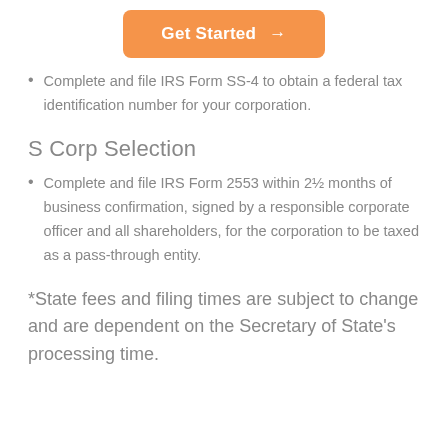[Figure (other): Orange 'Get Started →' button]
Complete and file IRS Form SS-4 to obtain a federal tax identification number for your corporation.
S Corp Selection
Complete and file IRS Form 2553 within 2½ months of business confirmation, signed by a responsible corporate officer and all shareholders, for the corporation to be taxed as a pass-through entity.
*State fees and filing times are subject to change and are dependent on the Secretary of State's processing time.